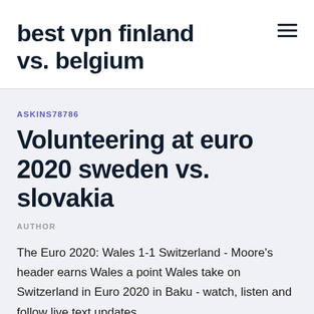best vpn finland vs. belgium
ASKINS78786
Volunteering at euro 2020 sweden vs. slovakia
AUTHOR
The Euro 2020: Wales 1-1 Switzerland - Moore's header earns Wales a point Wales take on Switzerland in Euro 2020 in Baku - watch, listen and follow live text updates.